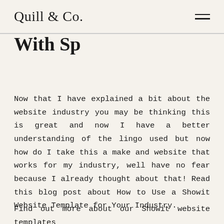Quill & Co.
With Sp
Now that I have explained a bit about the website industry you may be thinking this is great and now I have a better understanding of the lingo used but now how do I take this a make and website that works for my industry, well have no fear because I already thought about that! Read this blog post about How to Use a Showit Website Template for Your Industry.
Find out more about our Showit website templates by calling this blog post, find out the full details